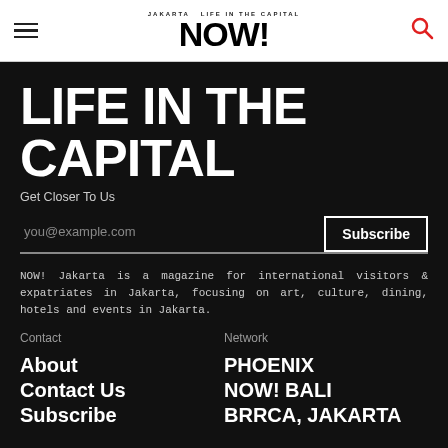NOW! Jakarta – Life in the Capital
LIFE IN THE CAPITAL
Get Closer To Us
you@example.com  Subscribe
NOW! Jakarta is a magazine for international visitors & expatriates in Jakarta, focusing on art, culture, dining, hotels and events in Jakarta.
Contact
Network
About
PHOENIX
Contact Us
NOW! BALI
Subscribe
BRRCA, JAKARTA